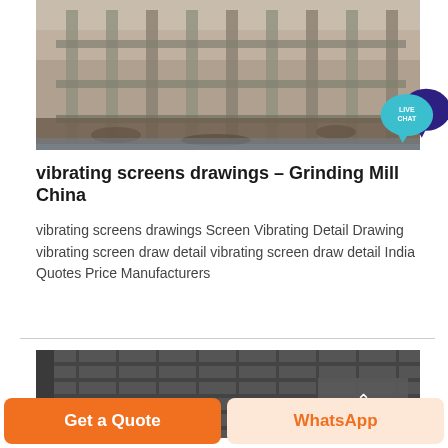[Figure (photo): Demolished or under-construction building with exposed concrete columns and rubble, viewed from outside near water]
[Figure (illustration): Live Chat badge — teal speech bubble with 'LIVE CHAT' text and dark blue speech bubble overlapping]
vibrating screens drawings – Grinding Mill China
vibrating screens drawings Screen Vibrating Detail Drawing vibrating screen draw detail vibrating screen draw detail India Quotes Price Manufacturers
[Figure (photo): Close-up of a metal vibrating screen structure showing grid-like panels, industrial equipment]
Get a Quote
WhatsApp